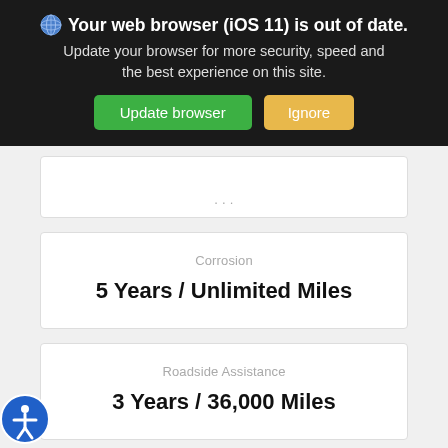[Figure (screenshot): Browser update notification banner with dark background, globe icon, bold title 'Your web browser (iOS 11) is out of date.', subtitle text, and two buttons: green 'Update browser' and orange 'Ignore']
Corrosion
5 Years / Unlimited Miles
Roadside Assistance
3 Years / 36,000 Miles